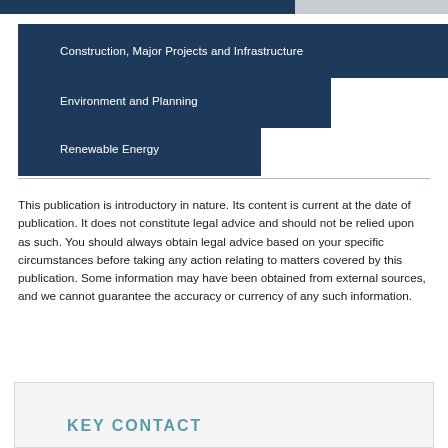Construction, Major Projects and Infrastructure
Environment and Planning
Renewable Energy
This publication is introductory in nature. Its content is current at the date of publication. It does not constitute legal advice and should not be relied upon as such. You should always obtain legal advice based on your specific circumstances before taking any action relating to matters covered by this publication. Some information may have been obtained from external sources, and we cannot guarantee the accuracy or currency of any such information.
KEY CONTACT